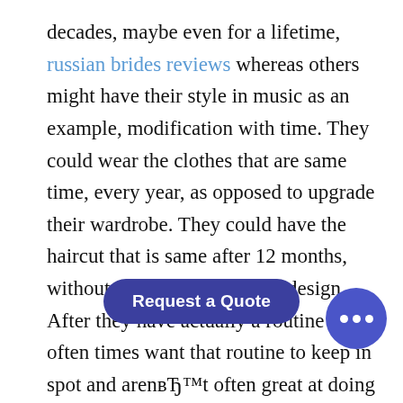decades, maybe even for a lifetime, russian brides reviews whereas others might have their style in music as an example, modification with time. They could wear the clothes that are same time, every year, as opposed to upgrade their wardrobe. They could have the haircut that is same after 12 months, without any improvement in design. After they have actually a routine they often times want that routine to keep in spot and aren't often great at doing things spontaneously. After they fall in love they usually are a dedicated and faithful partner. Whenever modification happens, they could get anxious or angry. For instance, then don't feel up to it on the day, they will expect that ... should still do what was planned if you have ma...